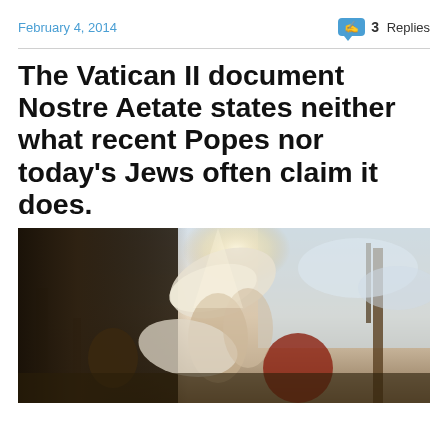February 4, 2014    💬 3 Replies
The Vatican II document Nostre Aetate states neither what recent Popes nor today's Jews often claim it does.
[Figure (illustration): A classical religious painting showing an angel with white wings interacting with figures in dramatic scene with trees and cloudy sky in the background.]